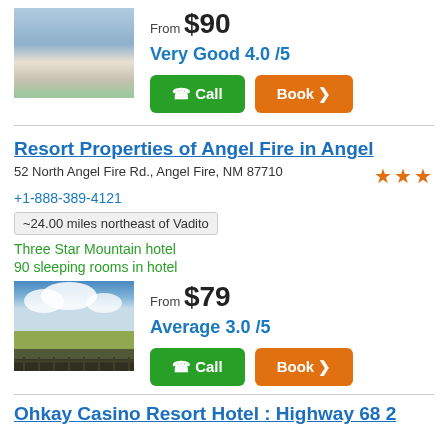[Figure (photo): Aerial winter view of a ski resort with snow-covered slopes and buildings]
From $90
Very Good 4.0 /5
Call
Book >
Resort Properties of Angel Fire in Angel
52 North Angel Fire Rd., Angel Fire, NM 87710
+1-888-389-4121
~24.00 miles northeast of Vadito
Three Star Mountain hotel
90 sleeping rooms in hotel
[Figure (photo): Outdoor view of fields and mountains under blue sky with clouds, with a wooden railing in the foreground]
From $79
Average 3.0 /5
Call
Book >
Ohkay Casino Resort Hotel : Highway 68 2